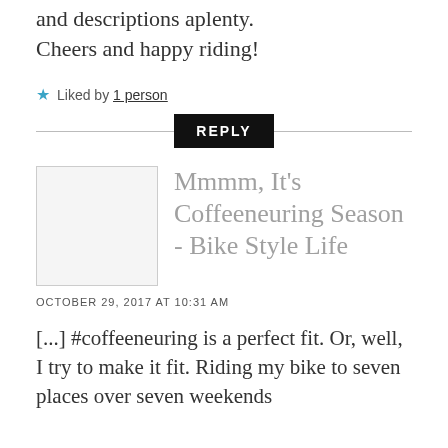and descriptions aplenty. Cheers and happy riding!
★ Liked by 1 person
REPLY
[Figure (photo): Broken image placeholder thumbnail for linked blog post]
Mmmm, It's Coffeeneuring Season - Bike Style Life
OCTOBER 29, 2017 AT 10:31 AM
[...] #coffeeneuring is a perfect fit. Or, well, I try to make it fit. Riding my bike to seven places over seven weekends